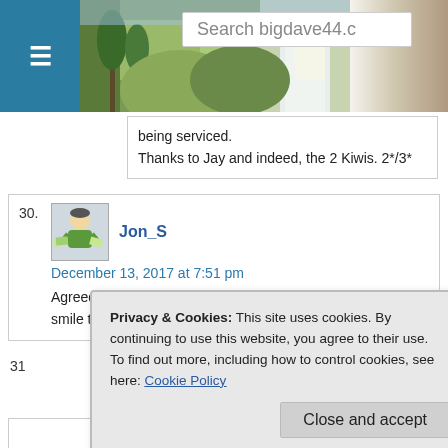[Figure (screenshot): Website header with hamburger menu, countryside photo background, and search box showing 'Search bigdave44.c']
being serviced.
Thanks to Jay and indeed, the 2 Kiwis. 2*/3*
30. Jon_S
December 13, 2017 at 7:51 pm
Agreed with the rating, just a little into ** time. 3d raised a smile today among many good clues.
Privacy & Cookies: This site uses cookies. By continuing to use this website, you agree to their use.
To find out more, including how to control cookies, see here: Cookie Policy
Close and accept
31